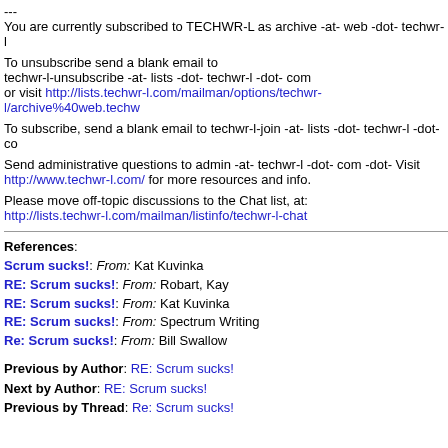---
You are currently subscribed to TECHWR-L as archive -at- web -dot- techwr-l
To unsubscribe send a blank email to
techwr-l-unsubscribe -at- lists -dot- techwr-l -dot- com
or visit http://lists.techwr-l.com/mailman/options/techwr-l/archive%40web.techw
To subscribe, send a blank email to techwr-l-join -at- lists -dot- techwr-l -dot- co
Send administrative questions to admin -at- techwr-l -dot- com -dot- Visit
http://www.techwr-l.com/ for more resources and info.
Please move off-topic discussions to the Chat list, at:
http://lists.techwr-l.com/mailman/listinfo/techwr-l-chat
References:
Scrum sucks!: From: Kat Kuvinka
RE: Scrum sucks!: From: Robart, Kay
RE: Scrum sucks!: From: Kat Kuvinka
RE: Scrum sucks!: From: Spectrum Writing
Re: Scrum sucks!: From: Bill Swallow
Previous by Author: RE: Scrum sucks!
Next by Author: RE: Scrum sucks!
Previous by Thread: Re: Scrum sucks!